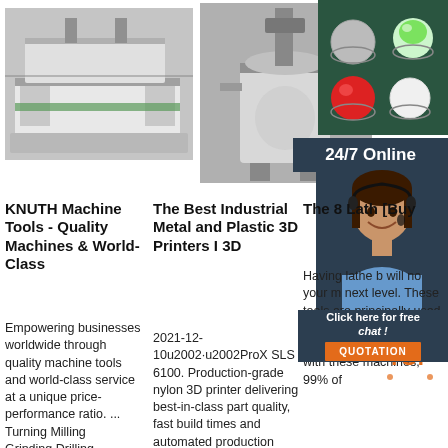[Figure (photo): Industrial machine / CNC machine tool on left]
[Figure (photo): Industrial mixing or 3D printing machine in center]
[Figure (photo): Colored balls/lights in cups on green background, top right]
24/7 Online
[Figure (photo): Customer service agent woman with headset smiling]
Click here for free chat !
QUOTATION
KNUTH Machine Tools - Quality Machines & World-Class
Empowering businesses worldwide through quality machine tools and world-class service at a unique price-performance ratio. ... Turning Milling Grinding Drilling
The Best Industrial Metal and Plastic 3D Printers I 3D
2021-12-10u2002·u2002ProX SLS 6100. Production-grade nylon 3D printer delivering best-in-class part quality, fast build times and automated production
The 8 Lath [Buy
Having lathe b will no your m next level. These tools are principally used for shaping thick and heavy metal, meaning with these machines, 99% of